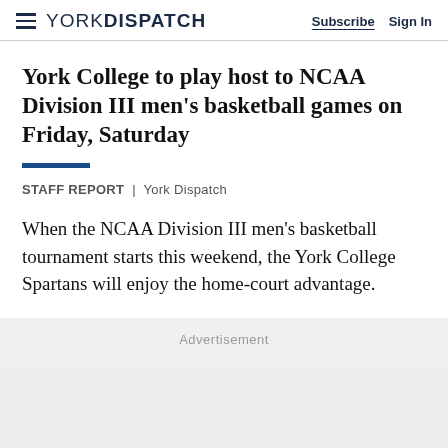YORK DISPATCH | Subscribe | Sign In
York College to play host to NCAA Division III men's basketball games on Friday, Saturday
STAFF REPORT | York Dispatch
When the NCAA Division III men's basketball tournament starts this weekend, the York College Spartans will enjoy the home-court advantage.
Advertisement